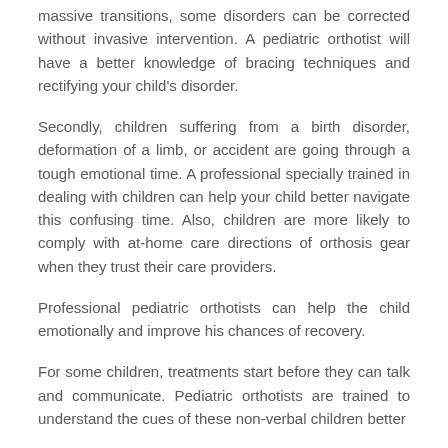massive transitions, some disorders can be corrected without invasive intervention. A pediatric orthotist will have a better knowledge of bracing techniques and rectifying your child's disorder.
Secondly, children suffering from a birth disorder, deformation of a limb, or accident are going through a tough emotional time. A professional specially trained in dealing with children can help your child better navigate this confusing time. Also, children are more likely to comply with at-home care directions of orthosis gear when they trust their care providers.
Professional pediatric orthotists can help the child emotionally and improve his chances of recovery.
For some children, treatments start before they can talk and communicate. Pediatric orthotists are trained to understand the cues of these non-verbal children better